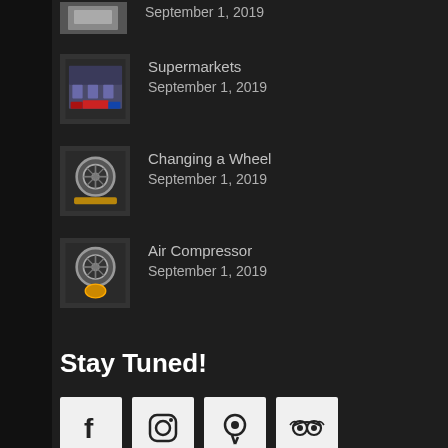Supermarkets — September 1, 2019
Changing a Wheel — September 1, 2019
Air Compressor — September 1, 2019
Stay Tuned!